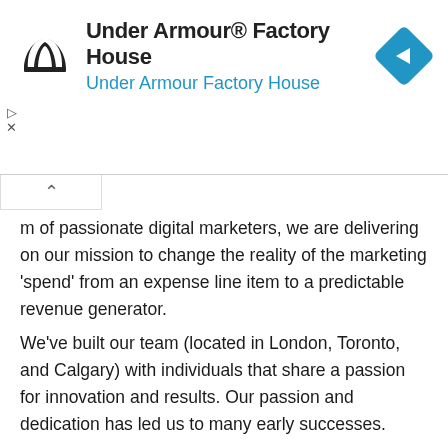[Figure (logo): Under Armour logo (stylized H/A mark in black), ad banner with navigation arrow icon in blue diamond, title 'Under Armour® Factory House', subtitle 'Under Armour Factory House']
m of passionate digital marketers, we are delivering on our mission to change the reality of the marketing 'spend' from an expense line item to a predictable revenue generator.
We've built our team (located in London, Toronto, and Calgary) with individuals that share a passion for innovation and results. Our passion and dedication has led us to many early successes.
Apply Here